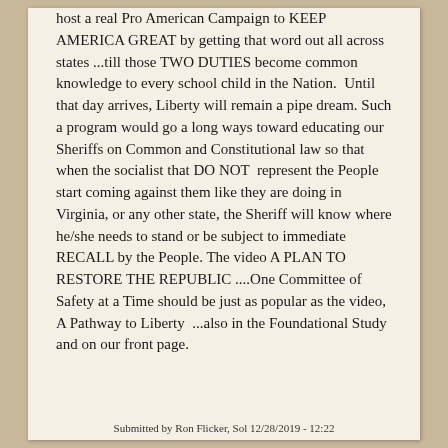host a real Pro American Campaign to KEEP AMERICA GREAT by getting that word out all across states ...till those TWO DUTIES become common knowledge to every school child in the Nation.  Until that day arrives, Liberty will remain a pipe dream. Such a program would go a long ways toward educating our Sheriffs on Common and Constitutional law so that when the socialist that DO NOT  represent the People start coming against them like they are doing in Virginia, or any other state, the Sheriff will know where he/she needs to stand or be subject to immediate RECALL by the People. The video A PLAN TO RESTORE THE REPUBLIC ....One Committee of Safety at a Time should be just as popular as the video,  A Pathway to Liberty  ...also in the Foundational Study and on our front page.
Submitted by Ron Flicker, Sol 12/28/2019 - 12:22